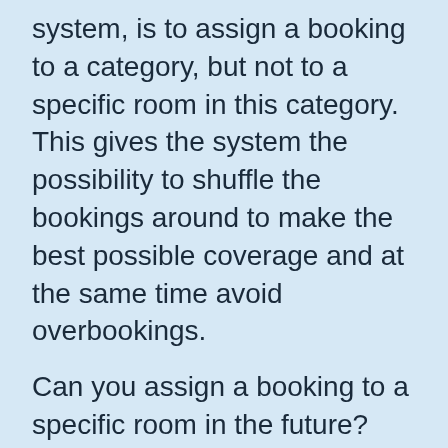system, is to assign a booking to a category, but not to a specific room in this category. This gives the system the possibility to shuffle the bookings around to make the best possible coverage and at the same time avoid overbookings.
Can you assign a booking to a specific room in the future? Yes, you can. In those cases the optimizing
This website stores cookies on your computer. These cookies are used to improve your website experience and provide more personalized services to you, both on this website and through other media. To find out more about the cookies we use, see our Privacy Policy.
We won't track your information when you visit our site. But in order to comply with your preferences, we'll have to use just one tiny cookie so that you're not asked to make this choice again.